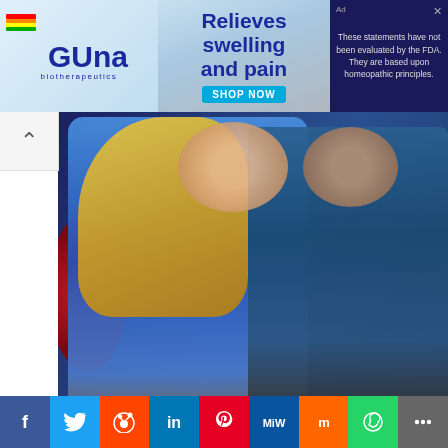[Figure (photo): Advertisement banner for GUNA biotherapeutics showing a product bottle with text 'Relieves swelling and pain' and a SHOP NOW button, with FDA disclaimer text on the right]
[Figure (photo): Photo of a woman in a blue dress and a man in a blue shirt sitting on a TV talk show set with decorative lighting in the background]
The Most Swoon-worthy Pairs From Rom-coms
HERBEAUTY
BIDEN   LAWSUIT   TITLE 42
[Figure (infographic): Social media sharing bar with icons for Facebook, Twitter, Reddit, LinkedIn, Pinterest, MeWe, Mix, WhatsApp, and Share]